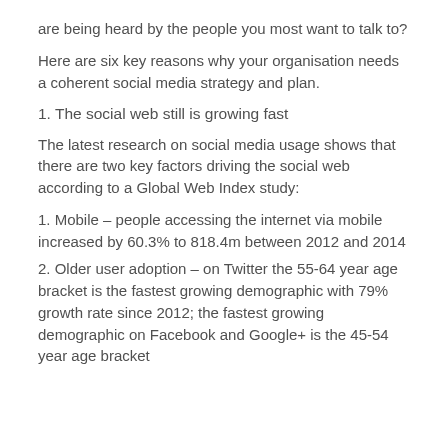are being heard by the people you most want to talk to?
Here are six key reasons why your organisation needs a coherent social media strategy and plan.
1. The social web still is growing fast
The latest research on social media usage shows that there are two key factors driving the social web according to a Global Web Index study:
1. Mobile – people accessing the internet via mobile increased by 60.3% to 818.4m between 2012 and 2014
2. Older user adoption – on Twitter the 55-64 year age bracket is the fastest growing demographic with 79% growth rate since 2012; the fastest growing demographic on Facebook and Google+ is the 45-54 year age bracket